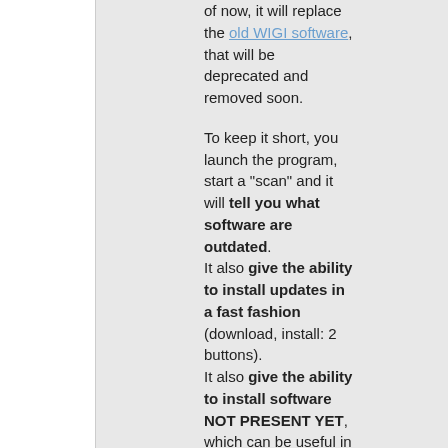of now, it will replace the old WIGI software, that will be deprecated and removed soon.

To keep it short, you launch the program, start a "scan" and it will tell you what software are outdated. It also give the ability to install updates in a fast fashion (download, install: 2 buttons). It also give the ability to install software NOT PRESENT YET, which can be useful in case of a clean, new machine. And last but not least you can list and uninstall programs